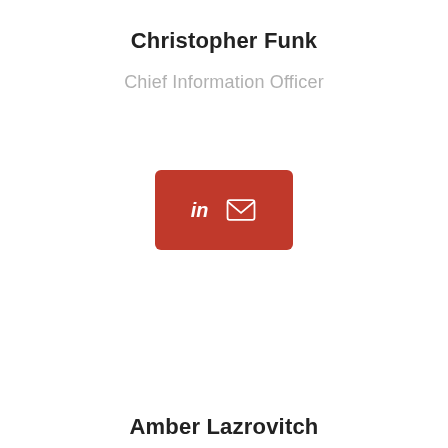Christopher Funk
Chief Information Officer
[Figure (infographic): Red rounded rectangle button containing LinkedIn 'in' icon and an envelope/email icon in white]
Amber Lazrovitch